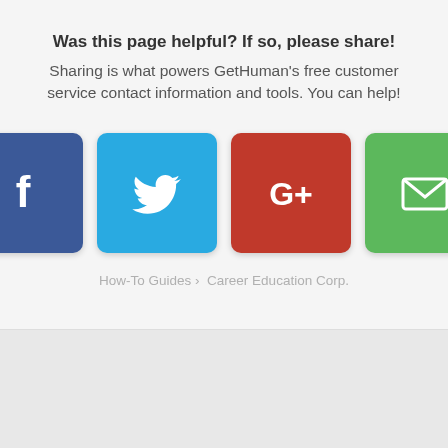Was this page helpful? If so, please share!
Sharing is what powers GetHuman's free customer service contact information and tools. You can help!
[Figure (infographic): Four social sharing buttons: Facebook (blue), Twitter (light blue), Google+ (red), Email (green), each with white icons on colored rounded square backgrounds.]
How-To Guides › Career Education Corp.